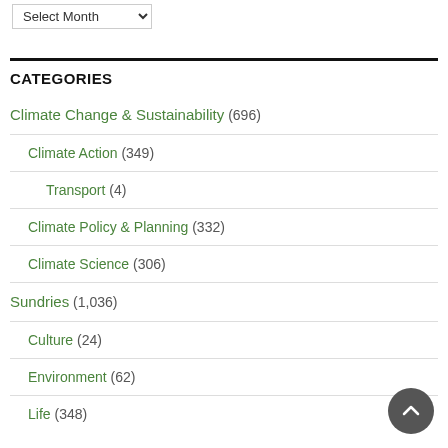Select Month (dropdown)
CATEGORIES
Climate Change & Sustainability (696)
Climate Action (349)
Transport (4)
Climate Policy & Planning (332)
Climate Science (306)
Sundries (1,036)
Culture (24)
Environment (62)
Life (348)